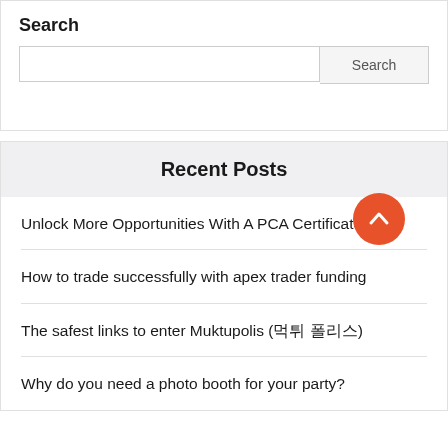Search
[Figure (other): Search input box and Search button]
Recent Posts
Unlock More Opportunities With A PCA Certificate
How to trade successfully with apex trader funding
The safest links to enter Muktupolis (먹튀 폴리스)
Why do you need a photo booth for your party?